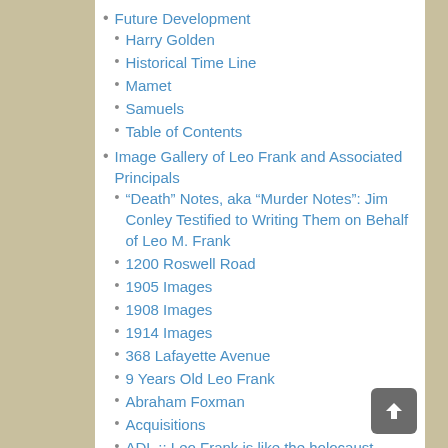Future Development
Harry Golden
Historical Time Line
Mamet
Samuels
Table of Contents
Image Gallery of Leo Frank and Associated Principals
“Death” Notes, aka “Murder Notes”: Jim Conley Testified to Writing Them on Behalf of Leo M. Frank
1200 Roswell Road
1905 Images
1908 Images
1914 Images
368 Lafayette Avenue
9 Years Old Leo Frank
Abraham Foxman
Acquisitions
ADL :: Leo Frank is like the holocaust
ADL, Anti-Defamation League of B’nai B’rith
Adolph Ochs
Advertising Banners Leo Frank